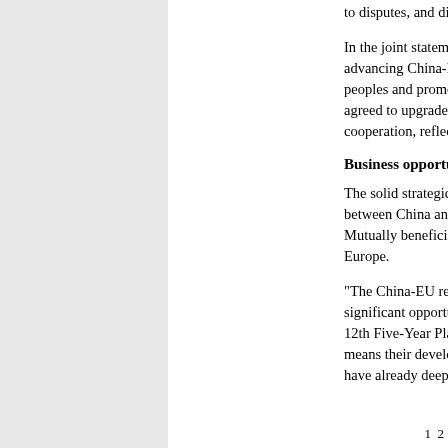to disputes, and diversity of civilization.
In the joint statement, the two sides reiterated advancing China-EU relations in next 10 years to benefit peoples and promote world peace and prosperity. They agreed to upgrade their defense security cooperation, reflecting the all-round coo
Business opportunities
The solid strategic basis will serve to sustain ties between China and Europe, particularly in economic areas. Mutually beneficial cooperation will benefit China and Europe.
"The China-EU relationship now stands at a significant opportunity to deepen cooperation. China has its 12th Five-Year Plan (2011-15), Europe has EU2020, which means their development plans and economic interests have already deeply intertwine
1  2